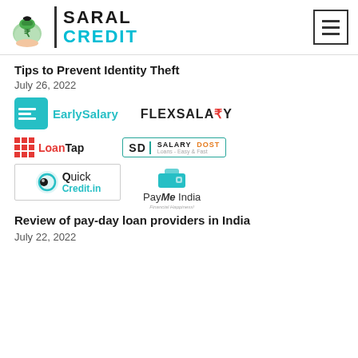[Figure (logo): Saral Credit logo with money bag icon, vertical divider, and teal CREDIT text, plus hamburger menu icon top right]
Tips to Prevent Identity Theft
July 26, 2022
[Figure (infographic): Grid of payday loan provider logos: EarlySalary, FlexSalary, LoanTap, Salary Dost, Quick Credit.in, PayMe India]
Review of pay-day loan providers in India
July 22, 2022